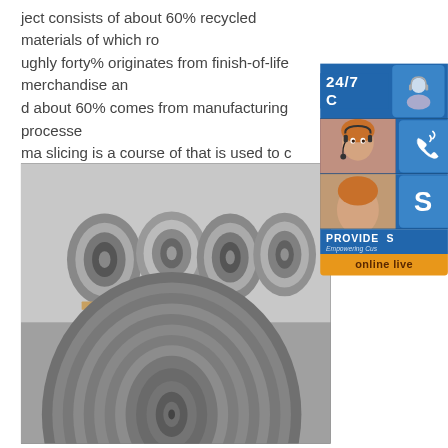ject consists of about 60% recycled materials of which roughly forty% originates from finish-of-life merchandise and about 60% comes from manufacturing processes. ma slicing is a course of that is used to cut her metals of various thicknesses using a
[Figure (photo): Large steel coil rolls stacked in an industrial warehouse, with one large coil in the foreground showing concentric circular metal strips.]
[Figure (infographic): Side panel with 24/7 customer support widget, phone icon button, Skype icon button, PROVIDE Empowering Customers section, and online live button.]